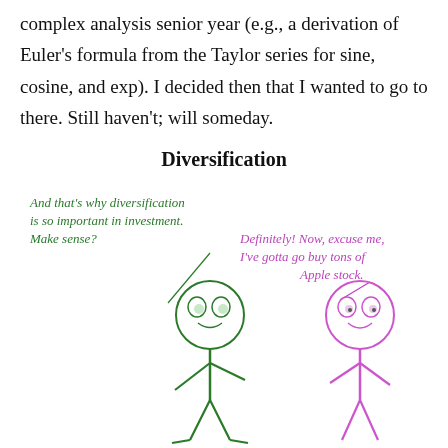complex analysis senior year (e.g., a derivation of Euler's formula from the Taylor series for sine, cosine, and exp). I decided then that I wanted to go to there. Still haven't; will someday.
Diversification
[Figure (illustration): A two-panel cartoon with stick figures. Left figure is green and says 'And that's why diversification is so important in investment. Make sense?' Right figure is pink/magenta and replies 'Definitely! Now, excuse me, I've gotta go buy tons of Apple stock.']